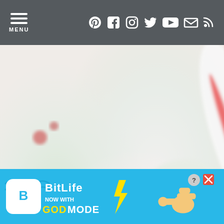MENU [social icons: Pinterest, Facebook, Instagram, Twitter, YouTube, Email, RSS]
[Figure (photo): Close-up photo of peppermint kiss cookies - white cookies with green sprinkles and peppermint candy kisses on top, pink frosted cookie in foreground with red and white striped candy. Watermark reads 'inspired bycharm'. Heart and search buttons visible.]
Peppermint Kiss Cookies
These ... st-
[Figure (screenshot): BitLife advertisement banner - blue background with BitLife logo, text 'NOW WITH GOD MODE', cartoon hand pointing, question mark and close buttons]